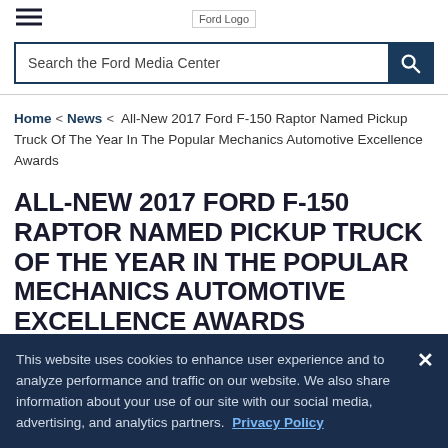Ford Logo
Search the Ford Media Center
Home < News < All-New 2017 Ford F-150 Raptor Named Pickup Truck Of The Year In The Popular Mechanics Automotive Excellence Awards
ALL-NEW 2017 FORD F-150 RAPTOR NAMED PICKUP TRUCK OF THE YEAR IN THE POPULAR MECHANICS AUTOMOTIVE EXCELLENCE AWARDS
This website uses cookies to enhance user experience and to analyze performance and traffic on our website. We also share information about your use of our site with our social media, advertising, and analytics partners. Privacy Policy